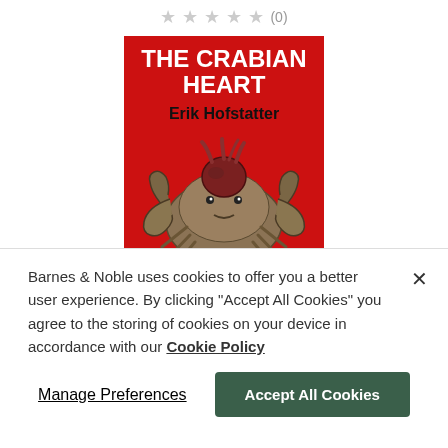[Figure (other): Star rating row showing 5 empty/grey stars and (0) review count]
[Figure (illustration): Book cover for 'The Crabian Heart' by Erik Hofstatter. Red background with large white bold text 'THE CRABIAN HEART', black bold text 'Erik Hofstatter', and an illustration of a crab holding a heart.]
Barnes & Noble uses cookies to offer you a better user experience. By clicking "Accept All Cookies" you agree to the storing of cookies on your device in accordance with our Cookie Policy
Manage Preferences
Accept All Cookies